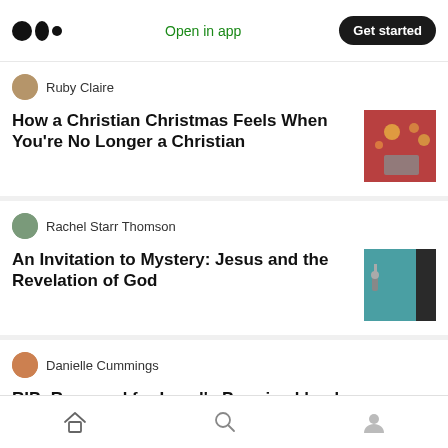[Figure (screenshot): Medium app navigation bar with logo, 'Open in app' link, and 'Get started' button]
Ruby Claire
How a Christian Christmas Feels When You're No Longer a Christian
[Figure (photo): Thumbnail image of Christmas lights and a book]
Rachel Starr Thomson
An Invitation to Mystery: Jesus and the Revelation of God
[Figure (photo): Thumbnail image of a teal door with a key]
Danielle Cummings
RIP: Reserved for Israel's Promised land
Jessica Bugg
What if I told you the Christian God, Yahweh had a wife?